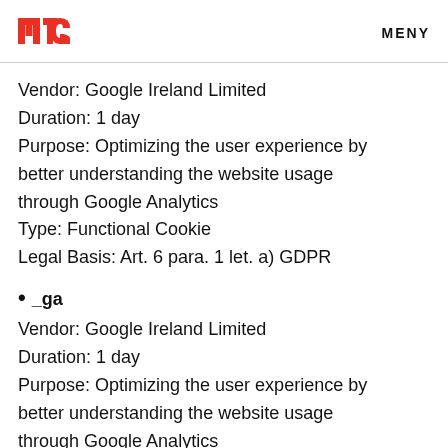MTG  MENY
Vendor: Google Ireland Limited
Duration: 1 day
Purpose: Optimizing the user experience by better understanding the website usage through Google Analytics
Type: Functional Cookie
Legal Basis: Art. 6 para. 1 let. a) GDPR
• _ga
Vendor: Google Ireland Limited
Duration: 1 day
Purpose: Optimizing the user experience by better understanding the website usage through Google Analytics
Type: Functional Cookie
Legal Basis: Art. 6 para. 1 let. a) GDPR